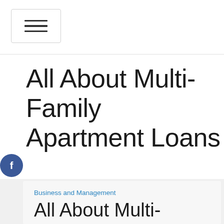[Figure (other): Hamburger menu button with three horizontal lines inside a rounded rectangle border]
All About Multi-Family Apartment Loans
[Figure (other): Social media icons: Facebook (blue circle, f), Google+ (red circle, g+), Twitter (blue circle, bird), Add/share (dark circle, +)]
Business and Management
All About Multi-